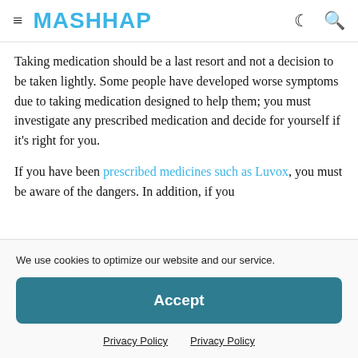MASHHAP
Taking medication should be a last resort and not a decision to be taken lightly. Some people have developed worse symptoms due to taking medication designed to help them; you must investigate any prescribed medication and decide for yourself if it's right for you.
If you have been prescribed medicines such as Luvox, you must be aware of the dangers. In addition, if you
We use cookies to optimize our website and our service.
Accept
Privacy Policy    Privacy Policy